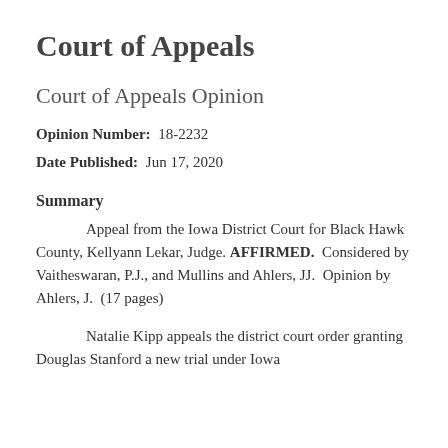Court of Appeals
Court of Appeals Opinion
Opinion Number:  18-2232
Date Published:  Jun 17, 2020
Summary
Appeal from the Iowa District Court for Black Hawk County, Kellyann Lekar, Judge. AFFIRMED. Considered by Vaitheswaran, P.J., and Mullins and Ahlers, JJ.  Opinion by Ahlers, J.  (17 pages)
Natalie Kipp appeals the district court order granting Douglas Stanford a new trial under Iowa